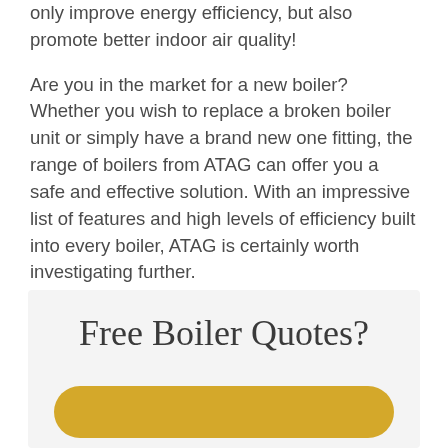only improve energy efficiency, but also promote better indoor air quality!
Are you in the market for a new boiler? Whether you wish to replace a broken boiler unit or simply have a brand new one fitting, the range of boilers from ATAG can offer you a safe and effective solution. With an impressive list of features and high levels of efficiency built into every boiler, ATAG is certainly worth investigating further.
Free Boiler Quotes?